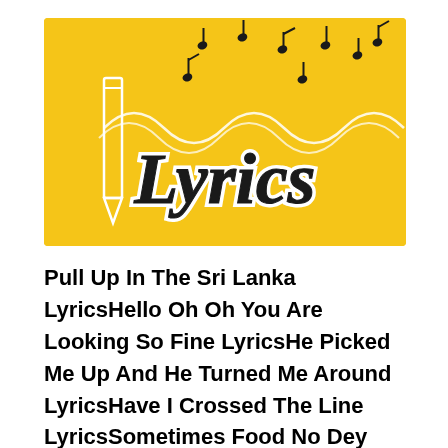[Figure (illustration): Yellow banner image with music notes, a white pencil illustration, white wavy lines, and the word 'Lyrics' in large black brush/handwritten style font with white outline]
Pull Up In The Sri Lanka LyricsHello Oh Oh You Are Looking So Fine LyricsHe Picked Me Up And He Turned Me Around LyricsHave I Crossed The Line LyricsSometimes Food No Dey